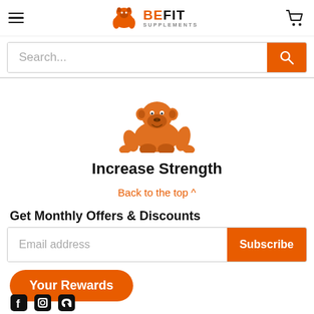[Figure (screenshot): BeFit Supplements website header with hamburger menu, logo (gorilla icon + BEFIT SUPPLEMENTS text), and shopping cart icon]
[Figure (screenshot): Search bar with placeholder text 'Search...' and orange search button]
[Figure (illustration): Orange gorilla silhouette icon centered on white background]
Increase Strength
Back to the top ^
Get Monthly Offers & Discounts
[Figure (screenshot): Email address input field with orange Subscribe button]
Your Rewards